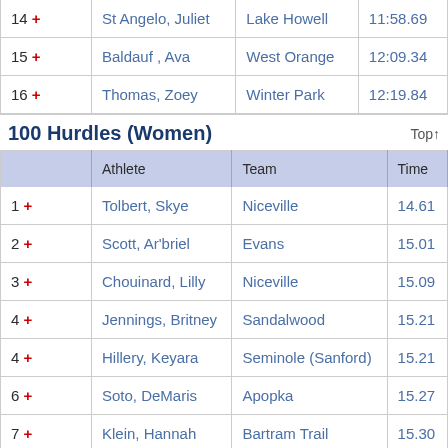|  | Athlete | Team | Time |
| --- | --- | --- | --- |
| 14 + | St Angelo, Juliet | Lake Howell | 11:58.69 |
| 15 + | Baldauf, Ava | West Orange | 12:09.34 |
| 16 + | Thomas, Zoey | Winter Park | 12:19.84 |
100 Hurdles (Women)
|  | Athlete | Team | Time |
| --- | --- | --- | --- |
| 1 + | Tolbert, Skye | Niceville | 14.61 |
| 2 + | Scott, Ar'briel | Evans | 15.01 |
| 3 + | Chouinard, Lilly | Niceville | 15.09 |
| 4 + | Jennings, Britney | Sandalwood | 15.21 |
| 4 + | Hillery, Keyara | Seminole (Sanford) | 15.21 |
| 6 + | Soto, DeMaris | Apopka | 15.27 |
| 7 + | Klein, Hannah | Bartram Trail | 15.30 |
| 8 + | Facey, Ziann | Hagerty | 15.39 |